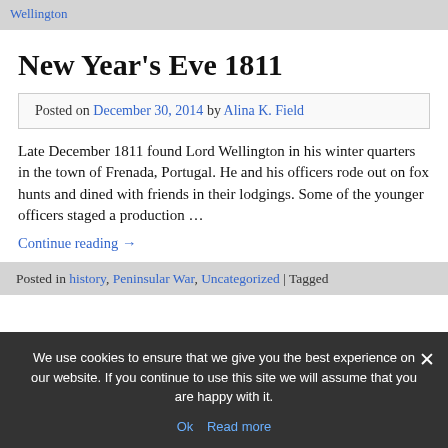Wellington
New Year's Eve 1811
Posted on December 30, 2014 by Alina K. Field
Late December 1811 found Lord Wellington in his winter quarters in the town of Frenada, Portugal. He and his officers rode out on fox hunts and dined with friends in their lodgings. Some of the younger officers staged a production …
Continue reading →
Posted in history, Peninsular War, Uncategorized | Tagged
We use cookies to ensure that we give you the best experience on our website. If you continue to use this site we will assume that you are happy with it.
Ok   Read more